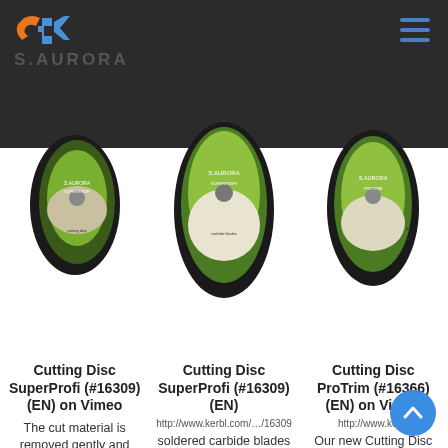S.AURORA
[Figure (photo): Three cutting discs (S.AURORA brand) displayed side by side on a dark header background. Each disc is oval-shaped with green and black labeling.]
Cutting Disc SuperProfi (#16309) (EN) on Vimeo
The cut material is removed gently and quickly by the disc
Cutting Disc SuperProfi (#16309) (EN)
http://www.kerbl.com/…/16309
soldered carbide blades on a compact 90 mm metal disc with
Cutting Disc ProTrim (#16366) (EN) on Vimeo
http://www.kerbl
Our new Cutting Disc ProTrim offers you innovative